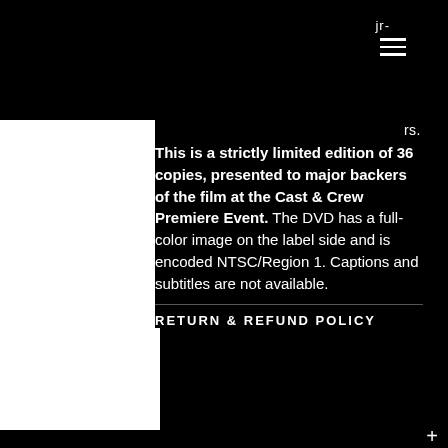jr-
rs.
This is a strictly limited edition of 36 copies, presented to major backers of the film at the Cast & Crew Premiere Event. The DVD has a full-color image on the label side and is encoded NTSC/Region 1. Captions and subtitles are not available.
RETURN & REFUND POLICY